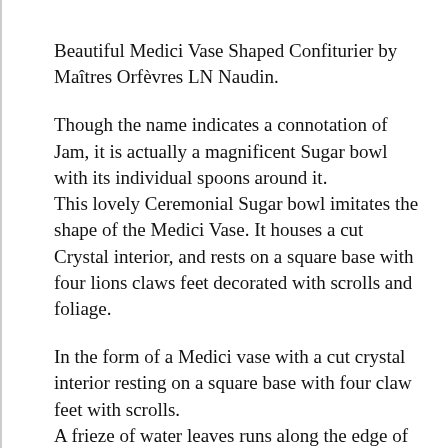Beautiful Medici Vase Shaped Confiturier by Maîtres Orfèvres LN Naudin.
Though the name indicates a connotation of Jam, it is actually a magnificent Sugar bowl with its individual spoons around it. This lovely Ceremonial Sugar bowl imitates the shape of the Medici Vase. It houses a cut Crystal interior, and rests on a square base with four lions claws feet decorated with scrolls and foliage.
In the form of a Medici vase with a cut crystal interior resting on a square base with four claw feet with scrolls. A frieze of water leaves runs along the edge of the circular pedestal and the edge of the